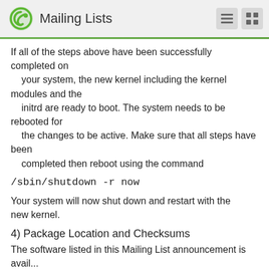Mailing Lists
If all of the steps above have been successfully completed on
    your system, the new kernel including the kernel modules and the
    initrd are ready to boot. The system needs to be rebooted for
    the changes to be active. Make sure that all steps have been
    completed then reboot using the command
/sbin/shutdown -r now
Your system will now shut down and restart with the new kernel.
4) Package Location and Checksums
The software listed in this Mailing List announcement is avail...